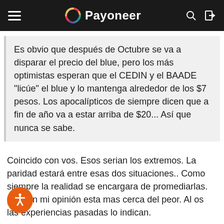Payoneer
Es obvio que después de Octubre se va a disparar el precio del blue, pero los más optimistas esperan que el CEDIN y el BAADE "licúe" el blue y lo mantenga alrededor de los $7 pesos. Los apocalípticos de siempre dicen que a fin de año va a estar arriba de $20... Así que nunca se sabe.
Coincido con vos. Esos serian los extremos. La paridad estará entre esas dos situaciones.. Como siempre la realidad se encargara de promediarlas. pero en mi opinión esta mas cerca del peor. Al os las experiencias pasadas lo indican.